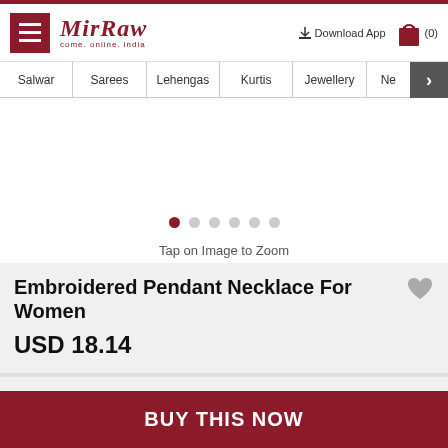Mirraw — come. online. india — Download App — (0)
Salwar | Sarees | Lehengas | Kurtis | Jewellery | Ne >
[Figure (other): Product image carousel area (blank/white) with navigation dots and Tap on Image to Zoom text]
Tap on Image to Zoom
Embroidered Pendant Necklace For Women
USD 18.14
Available Offers :
[-]
100% cashback
T&C
BUY THIS NOW